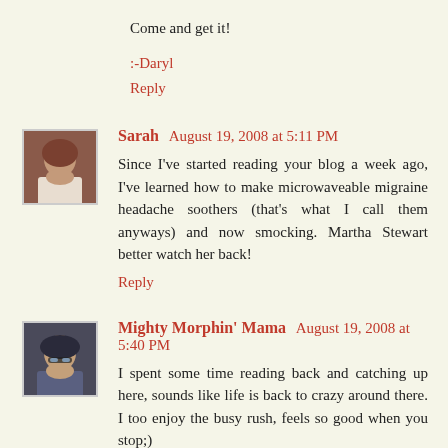Come and get it!
:-Daryl
Reply
Sarah  August 19, 2008 at 5:11 PM
Since I've started reading your blog a week ago, I've learned how to make microwaveable migraine headache soothers (that's what I call them anyways) and now smocking. Martha Stewart better watch her back!
Reply
Mighty Morphin' Mama  August 19, 2008 at 5:40 PM
I spent some time reading back and catching up here, sounds like life is back to crazy around there. I too enjoy the busy rush, feels so good when you stop;)
Must feel good to have all the kids tucked away at school now and good to hear you get to spend some time with